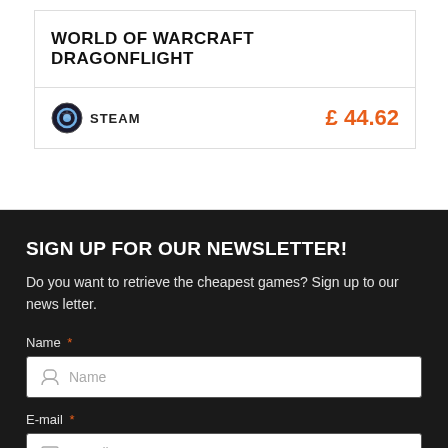WORLD OF WARCRAFT DRAGONFLIGHT
| Store | Price |
| --- | --- |
| STEAM | £ 44.62 |
SIGN UP FOR OUR NEWSLETTER!
Do you want to retrieve the cheapest games? Sign up to our news letter.
Name *
E-mail *